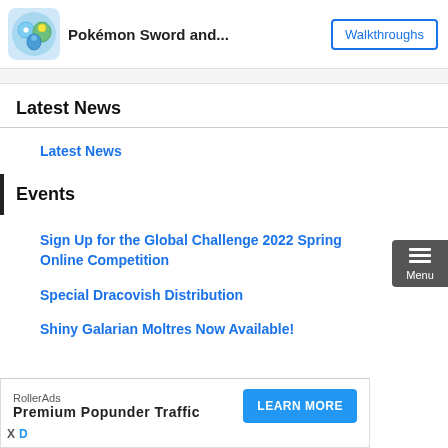Pokémon Sword and...  Walkthroughs
Latest News
Latest News
Events
Sign Up for the Global Challenge 2022 Spring Online Competition
Special Dracovish Distribution
Shiny Galarian Moltres Now Available!
RollerAds Premium Popunder Traffic LEARN MORE